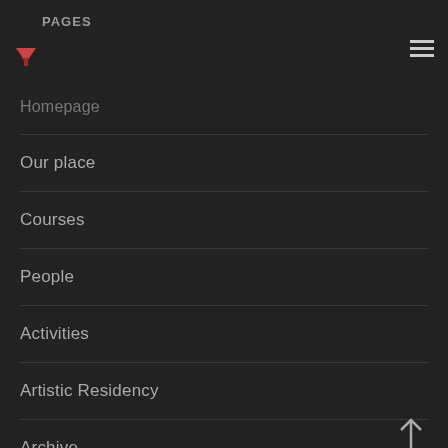PAGES
Homepage
Our place
Courses
People
Activities
Artistic Residency
Archive